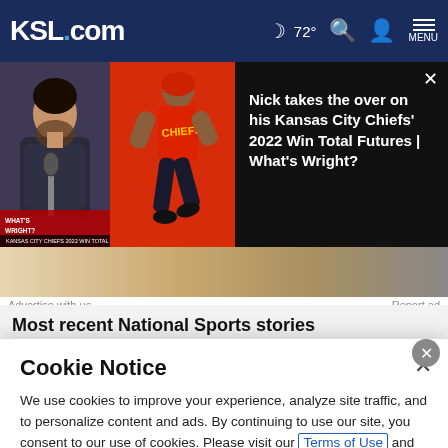KSL.com  72°  MENU
[Figure (screenshot): Video thumbnail showing two panels: left panel with a man at a microphone, right panel with a Kansas City Chiefs player in red uniform running. Banner text overlay at bottom reads: WHAT'S WRIGHT | KANSAS CITY CHIEFS 2022 WIN TOTAL FUTURES]
Nick takes the over on his Kansas City Chiefs' 2022 Win Total Futures | What's Wright?
[Figure (photo): Partial advertisement banner image with warm brownish tones]
Advertise with us    Report ad
Most recent National Sports stories
Cookie Notice
We use cookies to improve your experience, analyze site traffic, and to personalize content and ads. By continuing to use our site, you consent to our use of cookies. Please visit our Terms of Use and  Privacy Policy for more information